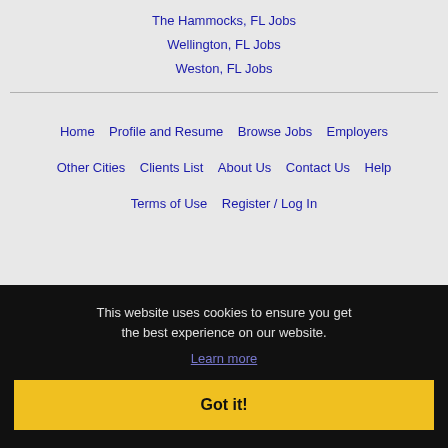The Hammocks, FL Jobs
Wellington, FL Jobs
Weston, FL Jobs
Home | Profile and Resume | Browse Jobs | Employers | Other Cities | Clients List | About Us | Contact Us | Help | Terms of Use | Register / Log In
This website uses cookies to ensure you get the best experience on our website. Learn more
Got it!